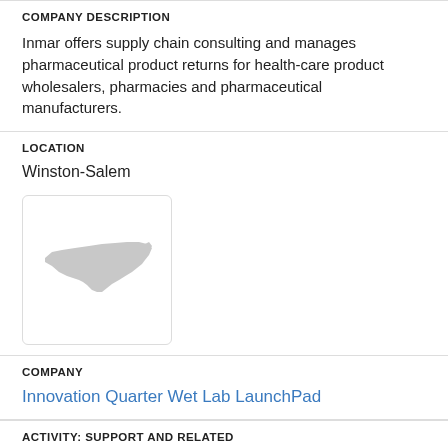COMPANY DESCRIPTION
Inmar offers supply chain consulting and manages pharmaceutical product returns for health-care product wholesalers, pharmacies and pharmaceutical manufacturers.
LOCATION
Winston-Salem
[Figure (map): Small map thumbnail showing outline of North Carolina state]
COMPANY
Innovation Quarter Wet Lab LaunchPad
ACTIVITY: SUPPORT AND RELATED
[Figure (illustration): Green icon showing three people/figures representing a group or team]